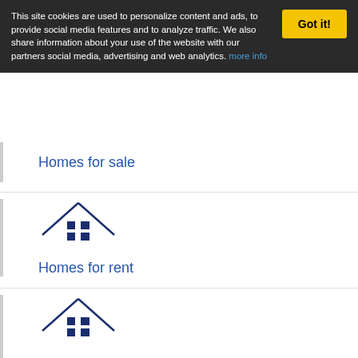This site cookies are used to personalize content and ads, to provide social media features and to analyze traffic. We also share information about your use of the website with our partners social media, advertising and web analytics. more info
Homes for sale
Homes for rent
Apartments for rent
Open houses